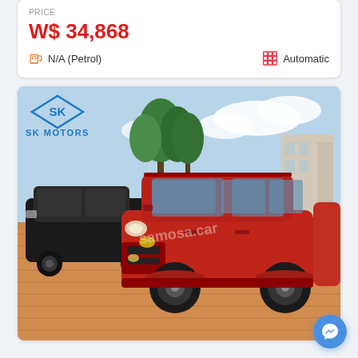PRICE
W$ 34,868
N/A (Petrol)   Automatic
[Figure (photo): Red Toyota RAV4 SUV parked in a lot with a black SUV beside it and trees in the background. SK Motors dealer logo overlaid in top-left corner. Watermark text visible across the center of the image.]